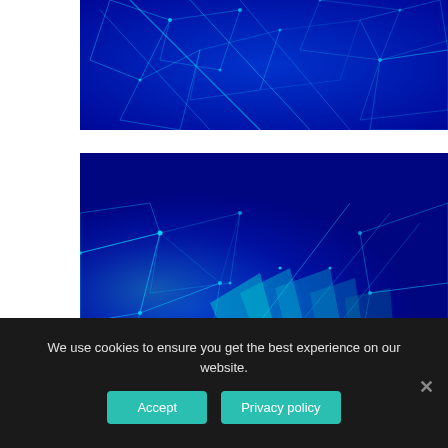[Figure (illustration): Digital low-poly wireframe hands on dark blue background with glowing cyan network lines and dots — top image cropped]
[Figure (illustration): Digital low-poly wireframe hands shaking or clasping on dark blue background with glowing cyan geometric lines — bottom image]
We use cookies to ensure you get the best experience on our website.